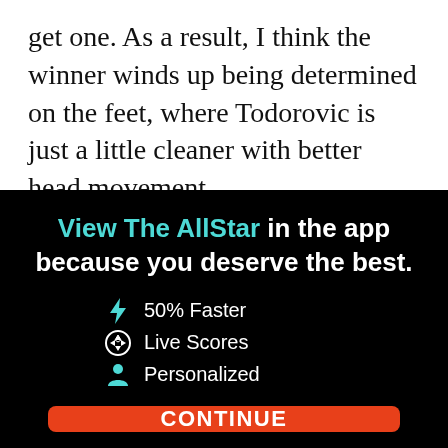get one. As a result, I think the winner winds up being determined on the feet, where Todorovic is just a little cleaner with better head movement.
View The AllStar in the app because you deserve the best.
⚡ 50% Faster
⚽ Live Scores
👤 Personalized
CONTINUE
or go to the mobile site